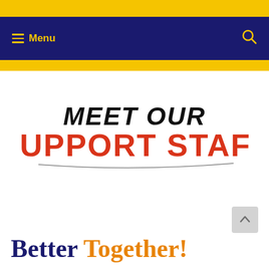Menu
[Figure (illustration): Meet Our Support Staff graphic with stylized text. 'Meet Our' in black italic handwritten-style font, 'Support Staff' in large bold red uppercase letters, with a curved underline beneath.]
Better Together!